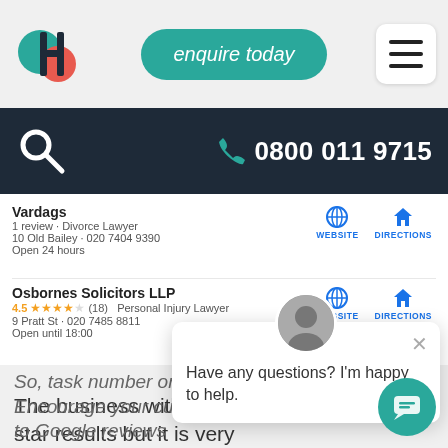[Figure (logo): Hedgehog Digital logo — overlapping circles teal and coral with letter H]
enquire today
[Figure (other): Hamburger menu icon]
[Figure (other): Search icon and phone number 0800 011 9715 on dark nav bar]
Vardags
1 review · Divorce Lawyer
10 Old Bailey · 020 7404 9390
Open 24 hours
Osbornes Solicitors LLP
4.5 ★★★★★ (18) Personal Injury Lawyer
9 Pratt St · 020 7485 8811
Open until 18:00
The business with the star results but it is very likely listing than the two result lovely organic stars!
So, task number one: Encourage your customers to Google reviews
Have any questions? I'm happy to help.